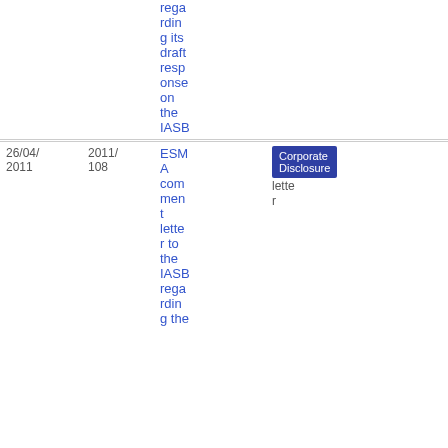| Date | Ref | Title | Topic | Type | File |
| --- | --- | --- | --- | --- | --- |
|  |  | ...regarding its draft response on the IASB |  |  |  |
| 26/04/2011 | 2011/108 | ESMA comment letter to the IASB regarding the... | Corporate Disclosure | letter | PDF 234.97 KB |